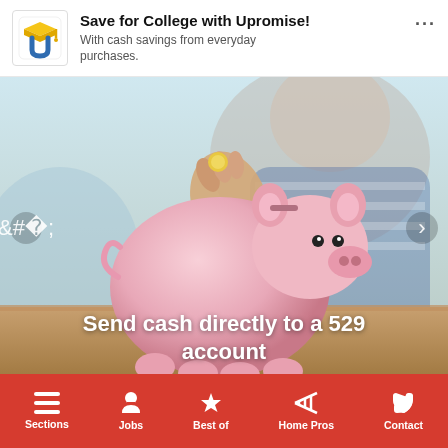[Figure (logo): Upromise logo — stylized U with graduation cap in blue/yellow/orange]
Save for College with Upromise!
With cash savings from everyday purchases.
[Figure (photo): Child smiling in background, hand inserting coin into pink piggy bank in foreground]
Send cash directly to a 529 account
Sections  Jobs  Best of  Home Pros  Contact